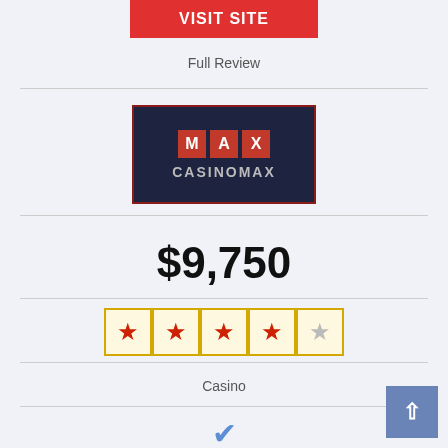[Figure (other): Red 'VISIT SITE' button at the top of the page]
Full Review
[Figure (logo): CasinoMax logo: dark navy background with red letter boxes spelling MAX above the text CASINOMAX in grey]
$9,750
[Figure (other): 4.5 out of 5 star rating displayed as 5 bordered star cells: 4 red filled stars and 1 grey empty star]
Casino
[Figure (other): Blue checkmark icon]
[Figure (other): Blue 'back to top' button with upward arrow in bottom right corner]